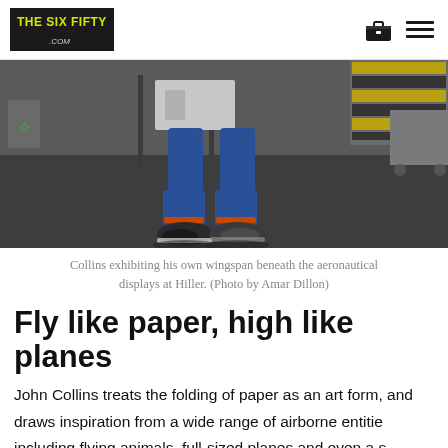THE SIX FIFTY .COM
[Figure (photo): Photo of Collins' feet/legs standing under aeronautical displays at Hiller, wearing jeans and dark sneakers on a gray floor with yellow caution tape visible in background]
Collins exhibiting his own wingspan beneath the aeronautical displays at Hiller. (Photo by Amar Dillon)
Fly like paper, high like planes
John Collins treats the folding of paper as an art form, and draws inspiration from a wide range of airborne entities including flying animals, full-sized planes and even a space craft from the original Star Trek series. He's also found Origami